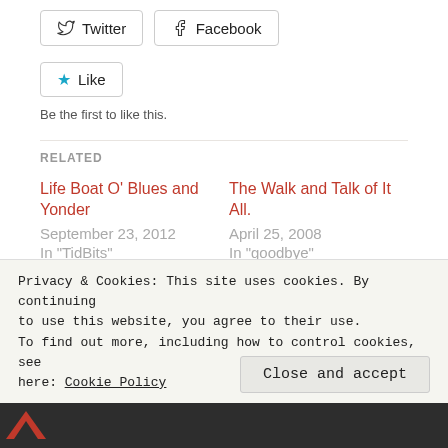[Figure (other): Twitter and Facebook share buttons, and a Like button with star icon]
Be the first to like this.
RELATED
Life Boat O’ Blues and Yonder
September 23, 2012
In "TidBits"
The Walk and Talk of It All.
April 25, 2008
In “goodbye”
Pole in the “Hoe”
May 9, 2008
In "fear"
Privacy & Cookies: This site uses cookies. By continuing to use this website, you agree to their use.
To find out more, including how to control cookies, see here: Cookie Policy
Close and accept